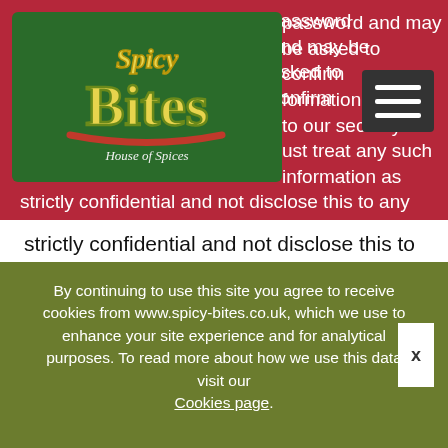password and may be asked to confirm formation relevant to our security ust treat any such information as strictly confidential and not disclose this to any third party.
[Figure (logo): Spicy Bites House of Spices logo on green background]
We have the right to disable any user identification code or password, whether chosen by you or allocated by us at any time, if in our reasonable opinion you fail to comply with any of the provisions of the Terms of Use. If you know or suspect that anyone other than you knows your password them you must promptly notify us at support@kukd.com or take steps to amend the password yourself.
By continuing to use this site you agree to receive cookies from www.spicy-bites.co.uk, which we use to enhance your site experience and for analytical purposes. To read more about how we use this data visit our Cookies page.